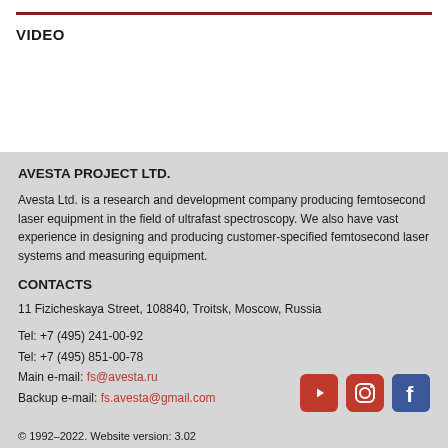VIDEO
AVESTA PROJECT LTD.
Avesta Ltd. is a research and development company producing femtosecond laser equipment in the field of ultrafast spectroscopy. We also have vast experience in designing and producing customer-specified femtosecond laser systems and measuring equipment.
CONTACTS
11 Fizicheskaya Street, 108840, Troitsk, Moscow, Russia
Tel: +7 (495) 241-00-92
Tel: +7 (495) 851-00-78
Main e-mail: fs@avesta.ru
Backup e-mail: fs.avesta@gmail.com
© 1992–2022. Website version: 3.02